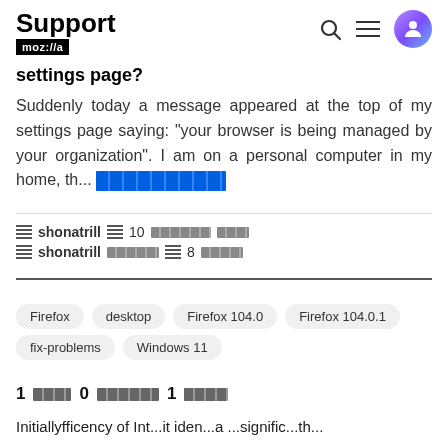Support mozilla//a
settings page?
Suddenly today a message appeared at the top of my settings page saying: "your browser is being managed by your organization". I am on a personal computer in my home, th... (read more)
shonatrill 10 [redacted] | shonatrill [redacted] 8 [redacted]
Firefox   desktop   Firefox 104.0   Firefox 104.0.1   fix-problems   Windows 11
1 [redacted] 0 [redacted] 1 [redacted]
Initiallyfficency of Int...it iden...a ...signific...th...